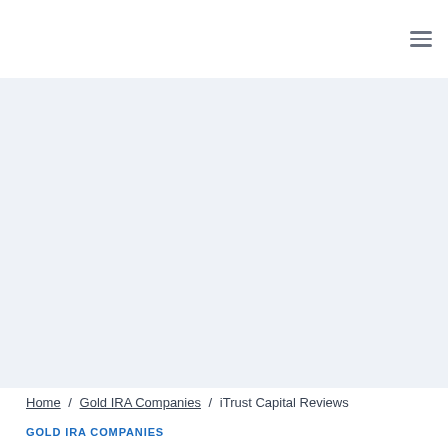≡
[Figure (other): Light blue-gray hero banner image placeholder area]
Home / Gold IRA Companies / iTrust Capital Reviews
GOLD IRA COMPANIES